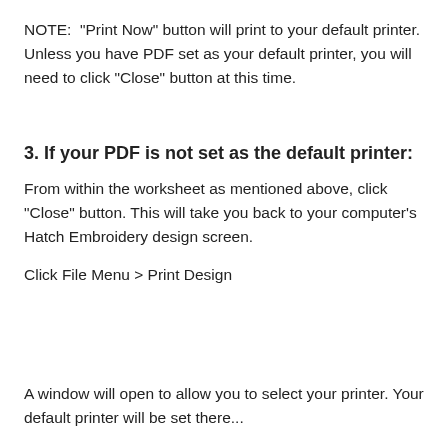NOTE:  "Print Now" button will print to your default printer. Unless you have PDF set as your default printer, you will need to click "Close" button at this time.
3. If your PDF is not set as the default printer:
From within the worksheet as mentioned above, click "Close" button. This will take you back to your computer's Hatch Embroidery design screen.
Click File Menu > Print Design
A window will open to allow you to select your printer. Your default printer will be set there...